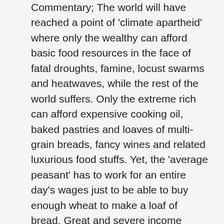Commentary; The world will have reached a point of 'climate apartheid' where only the wealthy can afford basic food resources in the face of fatal droughts, famine, locust swarms and heatwaves, while the rest of the world suffers. Only the extreme rich can afford expensive cooking oil, baked pastries and loaves of multi-grain breads, fancy wines and related luxurious food stuffs. Yet, the 'average peasant' has to work for an entire day's wages just to be able to buy enough wheat to make a loaf of bread. Great and severe income inequality is rampant worldwide. The 'few' own a massive disproportion of the earth's wealth and bounty. Billionaires vs billions of poor. The 'Crown Prince' owns 60,000 (6) tonnes of wheat in his store houses or graineries while the few grain silos in the Port of Lebanon were destroyed and its people are threatened with expensive grain shortages that require humanitarian assistance.